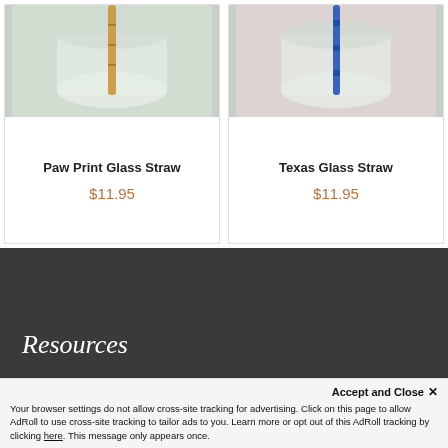[Figure (photo): Photo of a glass jar with a bamboo/gold straw inserted in it, on a white tile background — product image for Paw Print Glass Straw]
Paw Print Glass Straw
$11.95
[Figure (photo): Photo of a glass jar with a blue glass straw inserted in it, on a marble background — product image for Texas Glass Straw]
Texas Glass Straw
$11.95
Resources
Accept and Close ×
Your browser settings do not allow cross-site tracking for advertising. Click on this page to allow AdRoll to use cross-site tracking to tailor ads to you. Learn more or opt out of this AdRoll tracking by clicking here. This message only appears once.